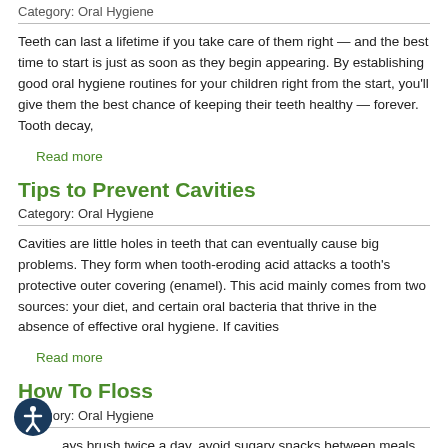Category: Oral Hygiene
Teeth can last a lifetime if you take care of them right — and the best time to start is just as soon as they begin appearing. By establishing good oral hygiene routines for your children right from the start, you'll give them the best chance of keeping their teeth healthy — forever. Tooth decay,
Read more
Tips to Prevent Cavities
Category: Oral Hygiene
Cavities are little holes in teeth that can eventually cause big problems. They form when tooth-eroding acid attacks a tooth's protective outer covering (enamel). This acid mainly comes from two sources: your diet, and certain oral bacteria that thrive in the absence of effective oral hygiene. If cavities
Read more
How To Floss
Category: Oral Hygiene
...ays brush twice a day, avoid sugary snacks between meals, and go to the dentist regularly. Do you still have to floss your teeth? The short answer: Yes, at least once a day. Flossing is probably your single